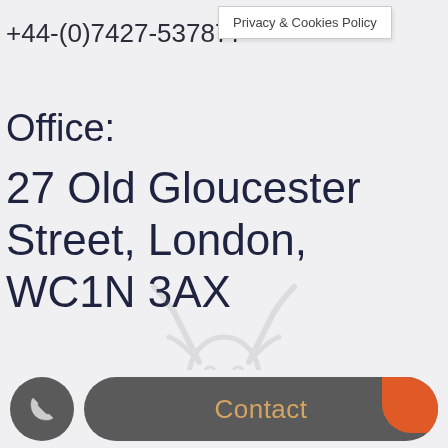+44-(0)7427-537877
Privacy & Cookies Policy
Office:
27 Old Gloucester Street, London, WC1N 3AX
[Figure (logo): Ghost/deer logo watermark in light gray]
Contact